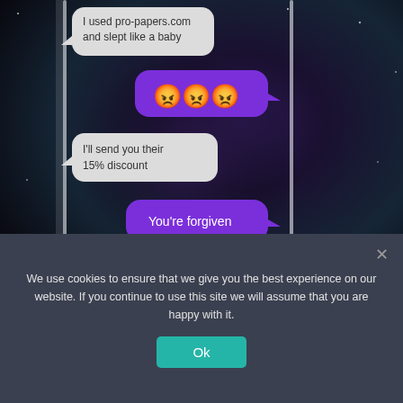[Figure (screenshot): A smartphone screenshot showing a messaging conversation on a galaxy/space background. First message (left bubble): 'I used pro-papers.com and slept like a baby'. Second message (right bubble): three angry face emojis. Third message (left bubble): 'I'll send you their 15% discount'. Fourth message (right bubble): 'You're forgiven'.]
We use cookies to ensure that we give you the best experience on our website. If you continue to use this site we will assume that you are happy with it.